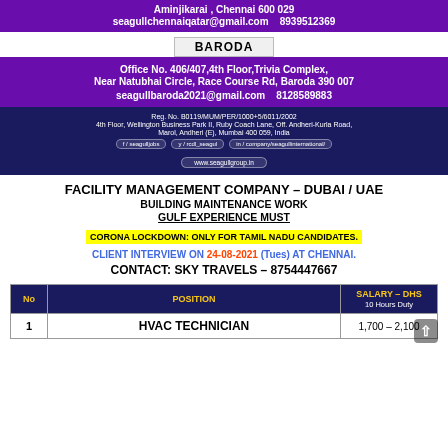Aminjikarai , Chennai 600 029
seagullchennaiqatar@gmail.com  8939512369
BARODA
Office No. 406/407,4th Floor,Trivia Complex, Near Natubhai Circle, Race Course Rd, Baroda 390 007
seagullbaroda2021@gmail.com  8128589883
Reg. No. B0119/MUM/PER/1000+5/6011/2002
4th Floor, Wellington Business Park II, Ruby Coach Lane, Off. Andheri-Kurla Road, Marol, Andheri (E), Mumbai 400 059, India
f/seagulljobs   y/rcdl_seagul   in/company/seagullinternational/
www.seagullgroup.in
FACILITY MANAGEMENT COMPANY – DUBAI / UAE
BUILDING MAINTENANCE WORK
GULF EXPERIENCE MUST
CORONA LOCKDOWN: ONLY FOR TAMIL NADU CANDIDATES.
CLIENT INTERVIEW ON 24-08-2021 (Tues) AT CHENNAI.
CONTACT: SKY TRAVELS – 8754447667
| No | POSITION | SALARY – DHS
10 Hours Duty |
| --- | --- | --- |
| 1 | HVAC TECHNICIAN | 1,700 – 2,100 |